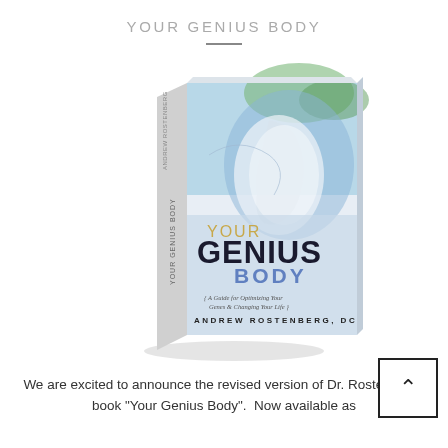YOUR GENIUS BODY
[Figure (photo): 3D rendered book cover of 'Your Genius Body' by Andrew Rostenberg, DC. The cover features a stylized face with colorful abstract background, with text 'YOUR GENIUS BODY', subtitle 'A Guide for Optimizing Your Genes & Changing Your Life', and author name 'ANDREW ROSTENBERG, DC'.]
We are excited to announce the revised version of Dr. Rostenbergs book "Your Genius Body".  Now available as